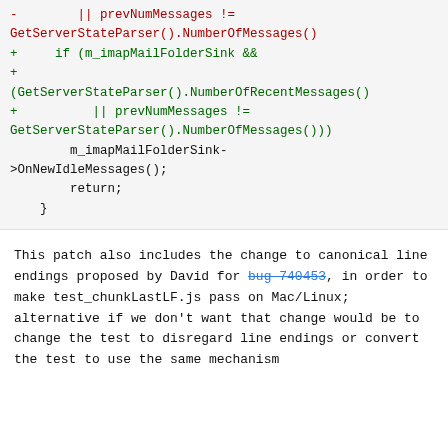[Figure (other): Code diff block showing changes to conditional logic involving GetServerStateParser().NumberOfMessages() and m_imapMailFolderSink->OnNewIdleMessages();]
This patch also includes the change to canonical line endings proposed by David for bug 740453, in order to make test_chunkLastLF.js pass on Mac/Linux; alternative if we don't want that change would be to change the test to disregard line endings or convert the test to use the same mechanism